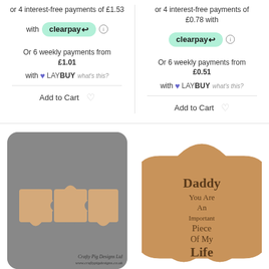or 4 interest-free payments of £1.53 with clearpay
Or 6 weekly payments from £1.01 with LAYBUY what's this?
Add to Cart
or 4 interest-free payments of £0.78 with clearpay
Or 6 weekly payments from £0.51 with LAYBUY what's this?
Add to Cart
[Figure (photo): Three interlocking beige/tan puzzle pieces on a grey background with Crafty Pig Designs Ltd branding]
[Figure (photo): Single large beige/tan jigsaw puzzle piece with text: Daddy You Are An Important Piece Of My Life]